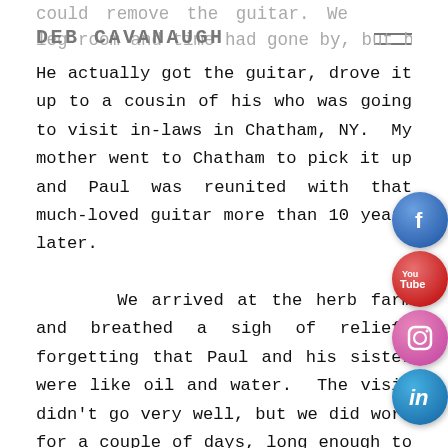could remove the guitar. We assured him that
DEB CAVANAUGH
leg room and time had gone by, but he insisted. He actually got the guitar, drove it up to a cousin of his who was going to visit in-laws in Chatham, NY. My mother went to Chatham to pick it up and Paul was reunited with that much-loved guitar more than 10 years later.

      We arrived at the herb farm and breathed a sigh of relief, forgetting that Paul and his sister were like oil and water. The visit didn't go very well, but we did work for a couple of days, long enough to make enough money to pay for the rest of the trip and even get a motel room, with cash this time, our last night on the road. We were exhausted by now and wanted to arrive in